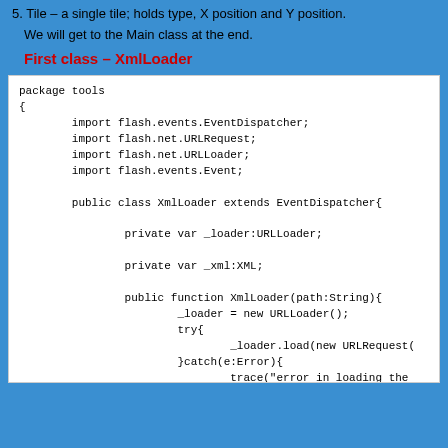5. Tile – a single tile; holds type, X position and Y position.
We will get to the Main class at the end.
First class – XmlLoader
[Figure (screenshot): Code block showing ActionScript package tools with XmlLoader class extending EventDispatcher, including imports, private variables, constructor, and onLoadXml function]